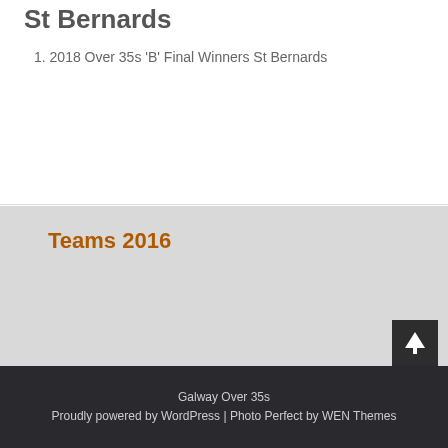St Bernards
1. 2018 Over 35s 'B' Final Winners St Bernards
Teams 2016
Galway Over 35s
Proudly powered by WordPress | Photo Perfect by WEN Themes